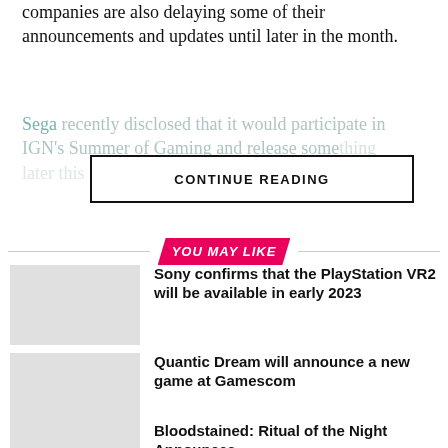companies are also delaying some of their announcements and updates until later in the month.
Sega recently disclosed that it would participate in IGN's Summer of Gaming and release some...
CONTINUE READING
YOU MAY LIKE
Sony confirms that the PlayStation VR2 will be available in early 2023
Quantic Dream will announce a new game at Gamescom
Bloodstained: Ritual of the Night Announces